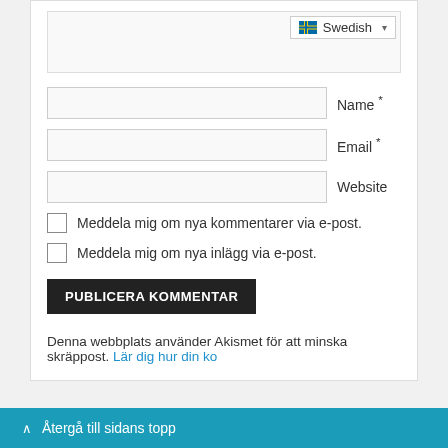[Figure (screenshot): Language selector dropdown showing Swedish flag and 'Swedish' text with dropdown arrow]
Name *
Email *
Website
Meddela mig om nya kommentarer via e-post.
Meddela mig om nya inlägg via e-post.
PUBLICERA KOMMENTAR
Denna webbplats använder Akismet för att minska skräppost. Lär dig hur din ko
^ Återgå till sidans topp